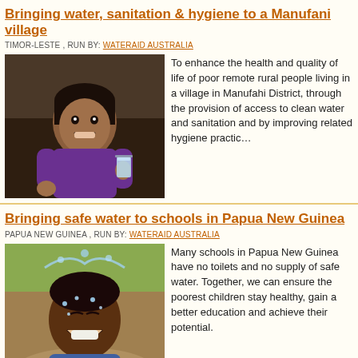Bringing water, sanitation & hygiene to a Manufani village
TIMOR-LESTE , RUN BY: WATERAID AUSTRALIA
[Figure (photo): Young girl smiling and holding a glass of clean water indoors]
To enhance the health and quality of life of poor remote rural people living in a village in Manufahi District, through the provision of access to clean water and sanitation and by improving related hygiene practices.
Bringing safe water to schools in Papua New Guinea
PAPUA NEW GUINEA , RUN BY: WATERAID AUSTRALIA
[Figure (photo): Young child laughing outdoors with water splashing on their face]
Many schools in Papua New Guinea have no toilets and no supply of safe water. Together, we can ensure the poorest children stay healthy, gain a better education and achieve their potential.